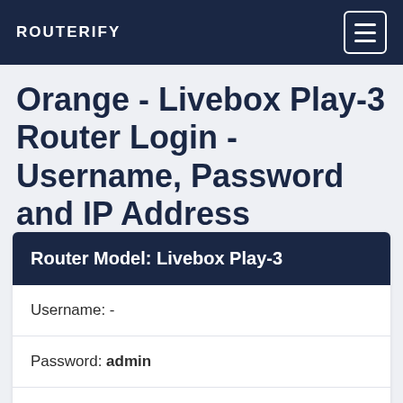ROUTERIFY
Orange - Livebox Play-3 Router Login - Username, Password and IP Address
| Router Model: Livebox Play-3 |
| --- |
| Username: - |
| Password: admin |
| IP Address: 192.168.1.1  Login |